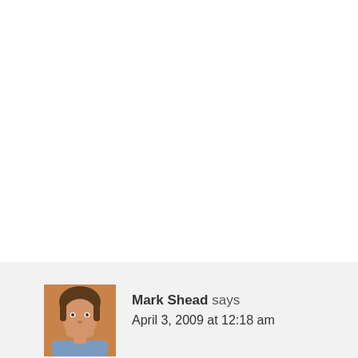[Figure (photo): Small square avatar photo of Mark Shead, a man smiling, with brown hair, against a warm background.]
Mark Shead says
April 3, 2009 at 12:18 am